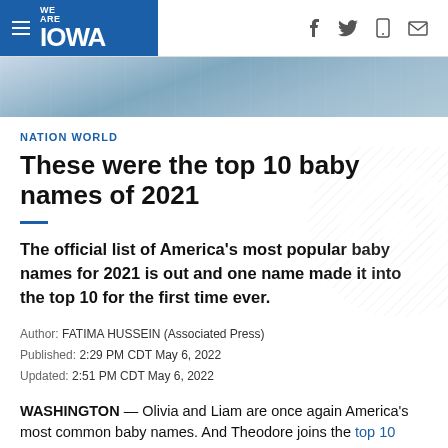WE ARE IOWA
[Figure (photo): Cropped photo strip showing a person with a baby, blue-grey tones]
NATION WORLD
These were the top 10 baby names of 2021
The official list of America's most popular baby names for 2021 is out and one name made it into the top 10 for the first time ever.
Author: FATIMA HUSSEIN (Associated Press)
Published: 2:29 PM CDT May 6, 2022
Updated: 2:51 PM CDT May 6, 2022
WASHINGTON — Olivia and Liam are once again America's most common baby names. And Theodore joins the top 10